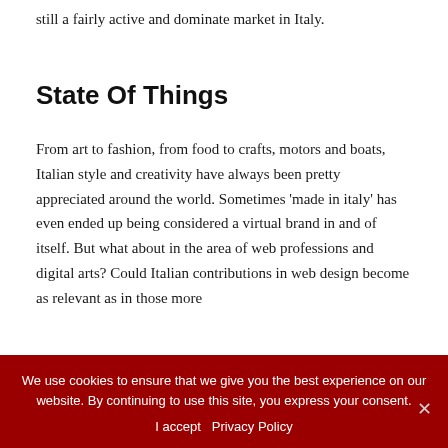still a fairly active and dominate market in Italy.
State Of Things
From art to fashion, from food to crafts, motors and boats, Italian style and creativity have always been pretty appreciated around the world. Sometimes 'made in italy' has even ended up being considered a virtual brand in and of itself. But what about in the area of web professions and digital arts? Could Italian contributions in web design become as relevant as in those more
We use cookies to ensure that we give you the best experience on our website. By continuing to use this site, you express your consent.
I accept   Privacy Policy